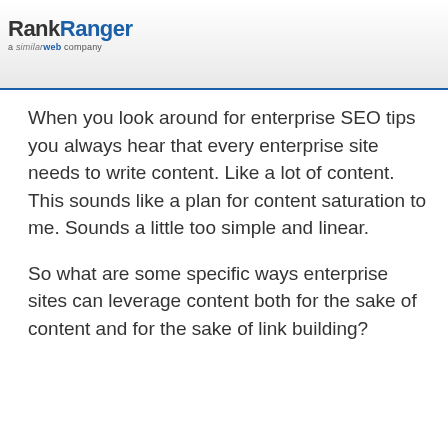RankRanger a similarweb company
When you look around for enterprise SEO tips you always hear that every enterprise site needs to write content. Like a lot of content. This sounds like a plan for content saturation to me. Sounds a little too simple and linear.
So what are some specific ways enterprise sites can leverage content both for the sake of content and for the sake of link building?